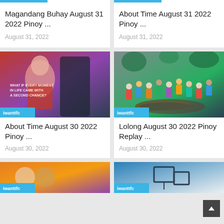Magandang Buhay August 31 2022 Pinoy ...
August 31, 2022
About Time August 31 2022 Pinoy ...
August 31, 2022
[Figure (photo): Woman in red dress laughing with text overlay 'WHAT IF EVERY MOMENT IN LIFE CAME WITH A SECOND CHANCE?' with iwanttfc badge]
About Time August 30 2022 Pinoy ...
August 30, 2022
[Figure (photo): Crowd of people gathered around a large crocodile on muddy ground with iwanttfc badge]
Lolong August 30 2022 Pinoy Replay ...
August 30, 2022